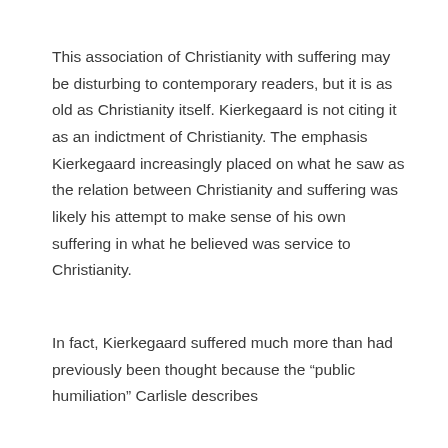This association of Christianity with suffering may be disturbing to contemporary readers, but it is as old as Christianity itself. Kierkegaard is not citing it as an indictment of Christianity. The emphasis Kierkegaard increasingly placed on what he saw as the relation between Christianity and suffering was likely his attempt to make sense of his own suffering in what he believed was service to Christianity.
In fact, Kierkegaard suffered much more than had previously been thought because the “public humiliation” Carlisle describes